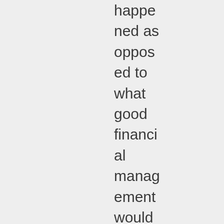happened as opposed to what good financial management would dictate. I'd give it a go if